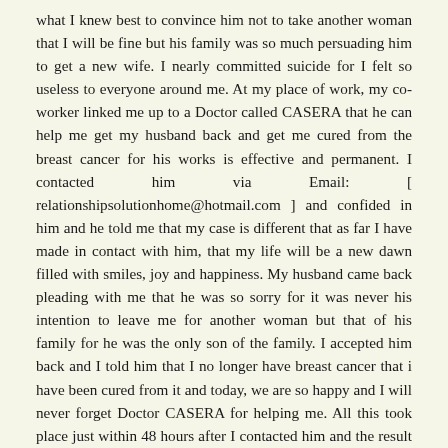what I knew best to convince him not to take another woman that I will be fine but his family was so much persuading him to get a new wife. I nearly committed suicide for I felt so useless to everyone around me. At my place of work, my co-worker linked me up to a Doctor called CASERA that he can help me get my husband back and get me cured from the breast cancer for his works is effective and permanent. I contacted him via Email: [ relationshipsolutionhome@hotmail.com ] and confided in him and he told me that my case is different that as far I have made in contact with him, that my life will be a new dawn filled with smiles, joy and happiness. My husband came back pleading with me that he was so sorry for it was never his intention to leave me for another woman but that of his family for he was the only son of the family. I accepted him back and I told him that I no longer have breast cancer that i have been cured from it and today, we are so happy and I will never forget Doctor CASERA for helping me. All this took place just within 48 hours after I contacted him and the result showed up as he said it. This is his contact for anyone out there that needs his help also. E-mail: [ relationshipsolutionhome@hotmail.com ] OR Call/text: +1 (518) 460-6400. He can also cure diseases like HIV, AIDS, Herpes Virus, Cancer, E.T.C.